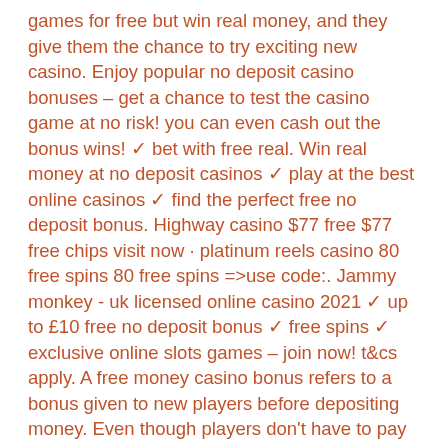games for free but win real money, and they give them the chance to try exciting new casino. Enjoy popular no deposit casino bonuses – get a chance to test the casino game at no risk! you can even cash out the bonus wins! ✓ bet with free real. Win real money at no deposit casinos ✓ play at the best online casinos ✓ find the perfect free no deposit bonus. Highway casino $77 free $77 free chips visit now · platinum reels casino 80 free spins 80 free spins =&gt;use code:. Jammy monkey - uk licensed online casino 2021 ✓ up to £10 free no deposit bonus ✓ free spins ✓ exclusive online slots games – join now! t&amp;cs apply. A free money casino bonus refers to a bonus given to new players before depositing money. Even though players don't have to pay out of pocket, free money. 1xslots no deposit bonus – 50 free spins on lake's five — you receive an amount of cash or a number of free spins